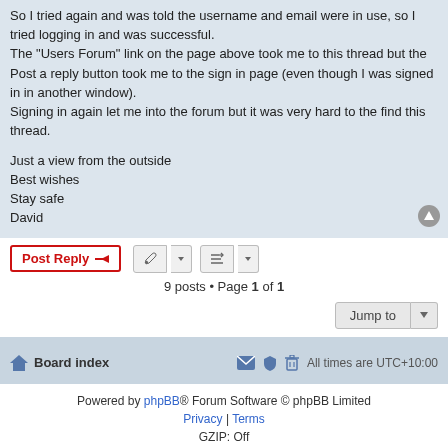So I tried again and was told the username and email were in use, so I tried logging in and was successful.
The "Users Forum" link on the page above took me to this thread but the Post a reply button took me to the sign in page (even though I was signed in in another window).
Signing in again let me into the forum but it was very hard to the find this thread.

Just a view from the outside
Best wishes
Stay safe
David
Post Reply
9 posts • Page 1 of 1
Jump to
Board index   All times are UTC+10:00
Powered by phpBB® Forum Software © phpBB Limited
Privacy | Terms
GZIP: Off